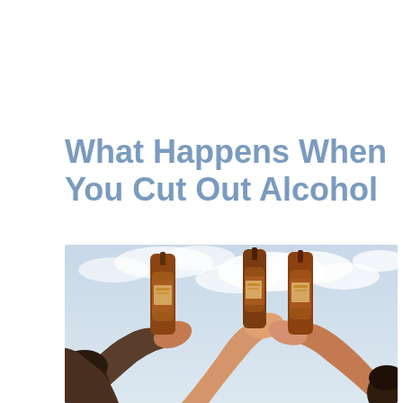What Happens When You Cut Out Alcohol
[Figure (photo): Photo of multiple people clinking brown glass beer bottles together against a cloudy sky background, viewed from below.]